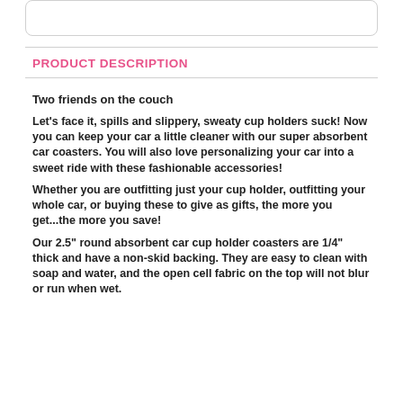PRODUCT DESCRIPTION
Two friends on the couch
Let's face it, spills and slippery, sweaty cup holders suck! Now you can keep your car a little cleaner with our super absorbent car coasters. You will also love personalizing your car into a sweet ride with these fashionable accessories!
Whether you are outfitting just your cup holder, outfitting your whole car, or buying these to give as gifts, the more you get...the more you save!
Our 2.5" round absorbent car cup holder coasters are 1/4" thick and have a non-skid backing. They are easy to clean with soap and water, and the open cell fabric on the top will not blur or run when wet.